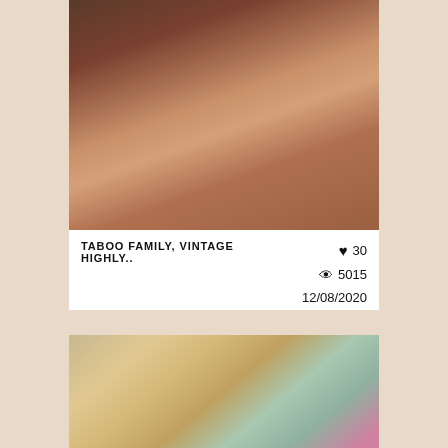[Figure (photo): Close-up side profile of a person with dark hair against a dark wooden background]
TABOO FAMILY, VINTAGE HIGHLY..   ♥ 30   👁 5015   12/08/2020
[Figure (photo): Close-up face of a young blonde woman with bangs, colorful items visible in background]